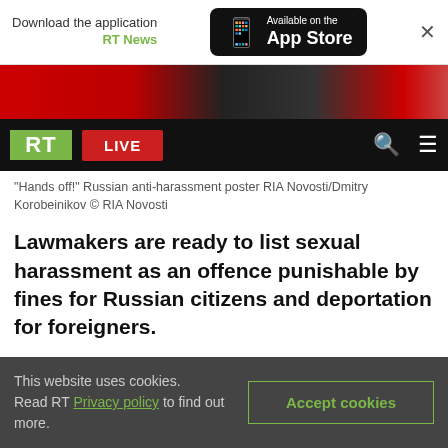Download the application RT News — Available on the App Store
[Figure (screenshot): RT website navigation bar with RT logo, LIVE button, search and menu icons, and a partial image strip above it]
"Hands off!" Russian anti-harassment poster RIA Novosti/Dmitry Korobeinikov © RIA Novosti
Lawmakers are ready to list sexual harassment as an offence punishable by fines for Russian citizens and deportation for foreigners.
The bill has been prepared by MP Oleg Nilov representing the center-left party Fair Russia. The lawmaker told the Izvestia daily that his main
This website uses cookies. Read RT Privacy policy to find out more.